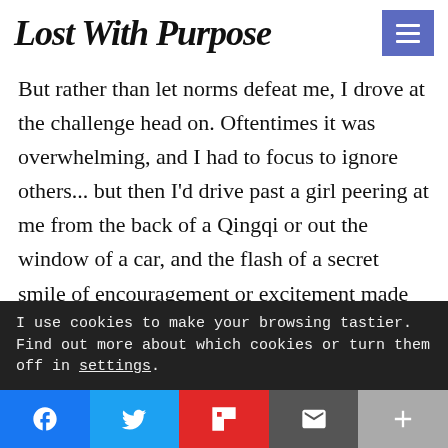Lost With Purpose
But rather than let norms defeat me, I drove at the challenge head on. Oftentimes it was overwhelming, and I had to focus to ignore others... but then I'd drive past a girl peering at me from the back of a Qingqi or out the window of a car, and the flash of a secret smile of encouragement or excitement made me
I use cookies to make your browsing tastier. Find out more about which cookies or turn them off in settings.